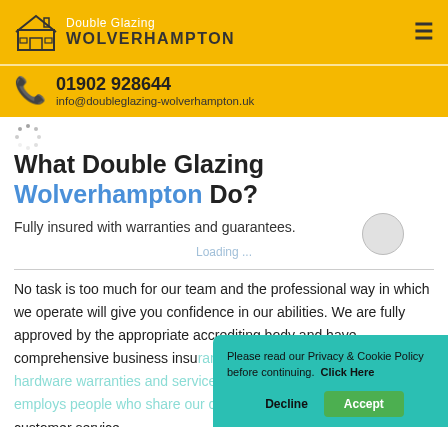Double Glazing Wolverhampton
01902 928644
info@doubleglazing-wolverhampton.uk
What Double Glazing Wolverhampton Do?
Fully insured with warranties and guarantees.
No task is too much for our team and the professional way in which we operate will give you confidence in our abilities. We are fully approved by the appropriate accrediting body and have comprehensive business insurance. We also offer generous hardware warranties and service guarantees. The company employs people who share our commitment to quality and excellent customer service.